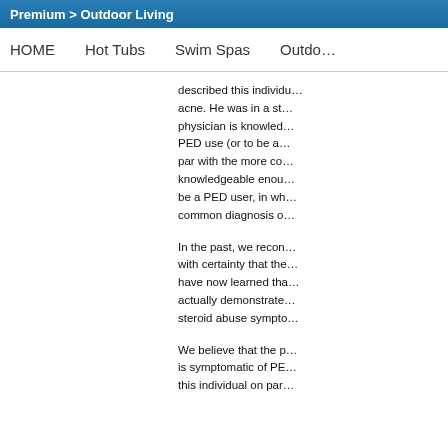Premium > Outdoor Living
HOME   Hot Tubs   Swim Spas   Outdoor
described this individual... acne. He was in a sta... physician is knowledgeable about PED use (or to be at par with the more co... knowledgeable enough to be a PED user, in wh... common diagnosis o...
In the past, we recon... with certainty that the... have now learned tha... actually demonstrate... steroid abuse sympto...
We believe that the p... is symptomatic of PE... this individual on par...